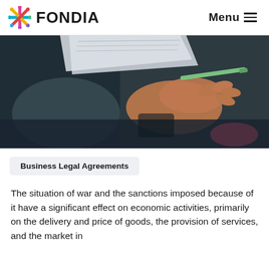FONDIA   Menu
[Figure (photo): Close-up of a person in a dark suit holding papers and a green pen, appearing to be signing or reviewing a document.]
Business Legal Agreements
The situation of war and the sanctions imposed because of it have a significant effect on economic activities, primarily on the delivery and price of goods, the provision of services, and the market in